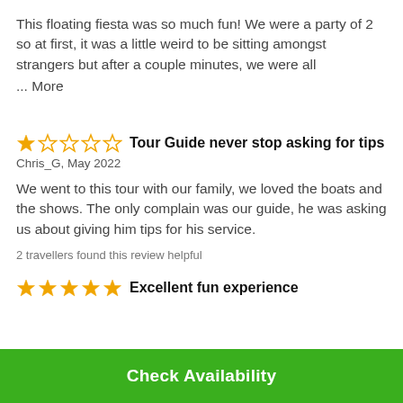This floating fiesta was so much fun! We were a party of 2 so at first, it was a little weird to be sitting amongst strangers but after a couple minutes, we were all
... More
Tour Guide never stop asking for tips
Chris_G, May 2022
We went to this tour with our family, we loved the boats and the shows. The only complain was our guide, he was asking us about giving him tips for his service.
2 travellers found this review helpful
Excellent fun experience
Check Availability